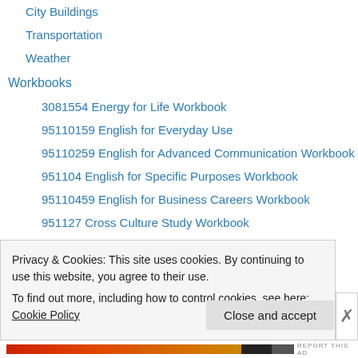City Buildings
Transportation
Weather
Workbooks
3081554 Energy for Life Workbook
95110159 English for Everyday Use
95110259 English for Advanced Communication Workbook
951104 English for Specific Purposes Workbook
95110459 English for Business Careers Workbook
951127 Cross Culture Study Workbook
95114359 Professional Skills and Competency for Employability
95116559 Spanish for Advanced Communication
952214 Multicultural Communication Workbook
952452 Spanish for Communication I Workbook
Privacy & Cookies: This site uses cookies. By continuing to use this website, you agree to their use. To find out more, including how to control cookies, see here: Cookie Policy
Close and accept